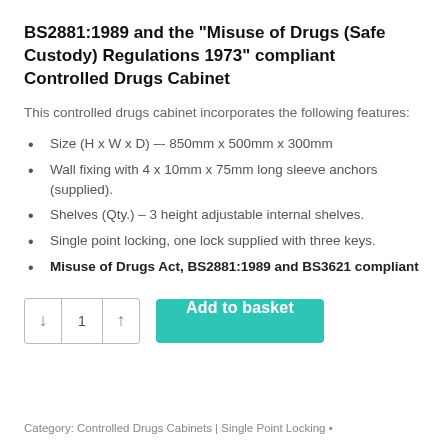BS2881:1989 and the "Misuse of Drugs (Safe Custody) Regulations 1973" compliant Controlled Drugs Cabinet
This controlled drugs cabinet incorporates the following features:
Size (H x W x D) –- 850mm x 500mm x 300mm
Wall fixing with 4 x 10mm x 75mm long sleeve anchors (supplied).
Shelves (Qty.) – 3 height adjustable internal shelves.
Single point locking, one lock supplied with three keys.
Misuse of Drugs Act, BS2881:1989 and BS3621 compliant
Category: Controlled Drugs Cabinets | Single Point Locking •